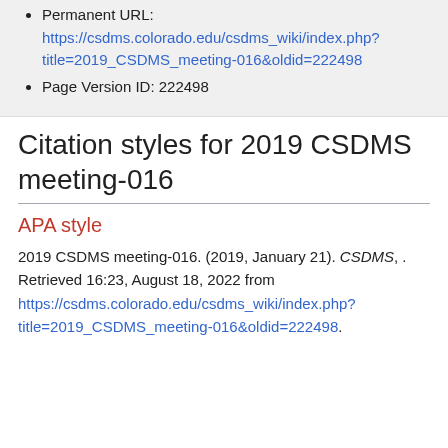Permanent URL: https://csdms.colorado.edu/csdms_wiki/index.php?title=2019_CSDMS_meeting-016&oldid=222498
Page Version ID: 222498
Citation styles for 2019 CSDMS meeting-016
APA style
2019 CSDMS meeting-016. (2019, January 21). CSDMS, . Retrieved 16:23, August 18, 2022 from https://csdms.colorado.edu/csdms_wiki/index.php?title=2019_CSDMS_meeting-016&oldid=222498.